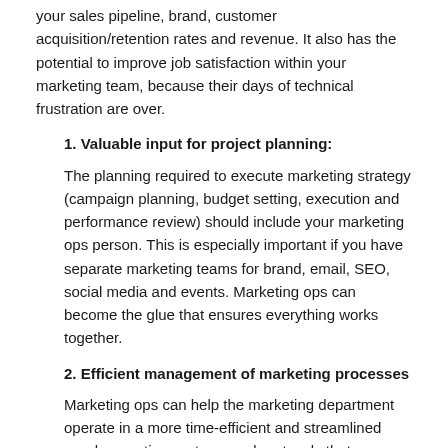your sales pipeline, brand, customer acquisition/retention rates and revenue. It also has the potential to improve job satisfaction within your marketing team, because their days of technical frustration are over.
1. Valuable input for project planning:
The planning required to execute marketing strategy (campaign planning, budget setting, execution and performance review) should include your marketing ops person. This is especially important if you have separate marketing teams for brand, email, SEO, social media and events. Marketing ops can become the glue that ensures everything works together.
2. Efficient management of marketing processes
Marketing ops can help the marketing department operate in a more time-efficient and streamlined way by creating systems and protocols that everyone must follow. Having robust processes in place prevents people from 'just winging it', which exposes your organisation to